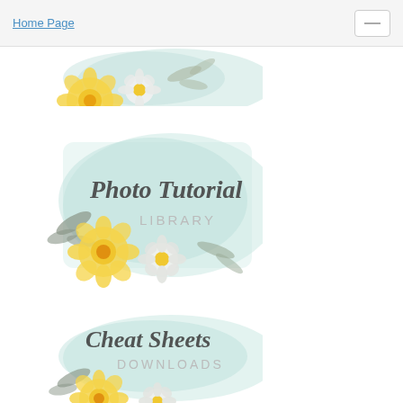Home Page
[Figure (illustration): Partial floral illustration at top of page with yellow and white flowers on a light teal watercolor background]
[Figure (illustration): Photo Tutorial Library card with script text 'Photo Tutorial' and uppercase 'LIBRARY', decorated with yellow and white flowers on a light teal watercolor background]
[Figure (illustration): Cheat Sheets Downloads card with script text 'Cheat Sheets' and uppercase 'DOWNLOADS', decorated with yellow and white flowers on a light teal watercolor background]